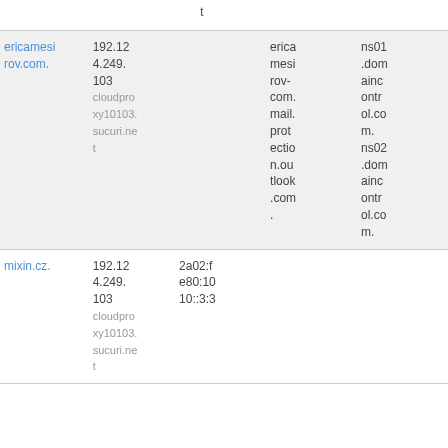t
| ericamesirov.com. | 192.124.249.103 cloudproxy10103.sucuri.net |  | ericamesirov-com.mail.protection.outlook.com. | ns01.domaincontrol.com. ns02.domaincontrol.com. |
| mixin.cz. | 192.124.249.103 cloudproxy10103.sucuri.net | 2a02:fe80:1010::3:3 |  |  |